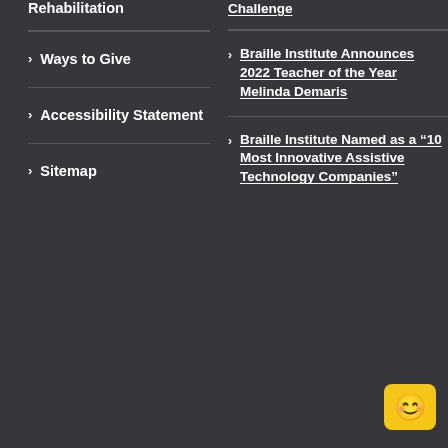Rehabilitation
Challenge
Ways to Give
Braille Institute Announces 2022 Teacher of the Year Melinda Demaris
Accessibility Statement
Sitemap
Braille Institute Named as a “10 Most Innovative Assistive Technology Companies”
[Figure (illustration): Yellow smiley face chat bot widget in bottom right corner]